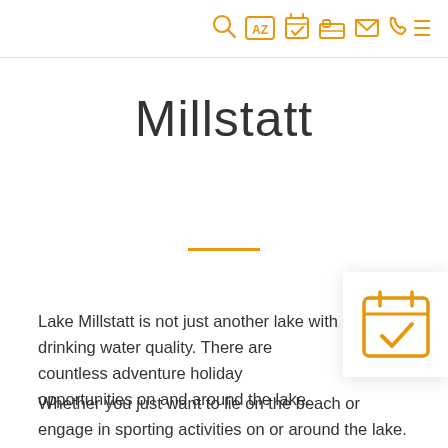[navigation icons: search, AZ, calendar-check, bed, envelope, phone, menu]
Millstatt
Lake Millstatt is not just another lake with drinking water quality. There are countless adventure holiday opportunities on and around the lake.
Whether you just want to lie on the beach or engage in sporting activities on or around the lake.